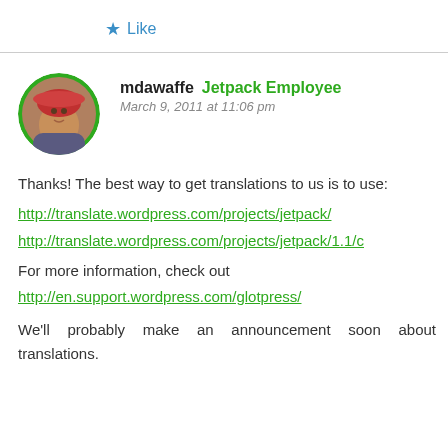★ Like
[Figure (photo): Circular avatar photo of user mdawaffe with green border, showing a person wearing a red hat]
mdawaffe  Jetpack Employee
March 9, 2011 at 11:06 pm
Thanks! The best way to get translations to us is to use:
http://translate.wordpress.com/projects/jetpack/

http://translate.wordpress.com/projects/jetpack/1.1/c

For more information, check out
http://en.support.wordpress.com/glotpress/

We'll probably make an announcement soon about translations.